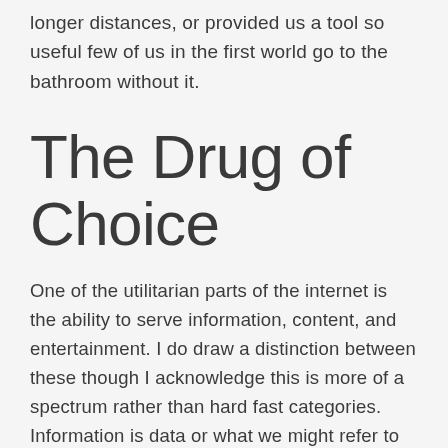longer distances, or provided us a tool so useful few of us in the first world go to the bathroom without it.
The Drug of Choice
One of the utilitarian parts of the internet is the ability to serve information, content, and entertainment. I do draw a distinction between these though I acknowledge this is more of a spectrum rather than hard fast categories. Information is data or what we might refer to as